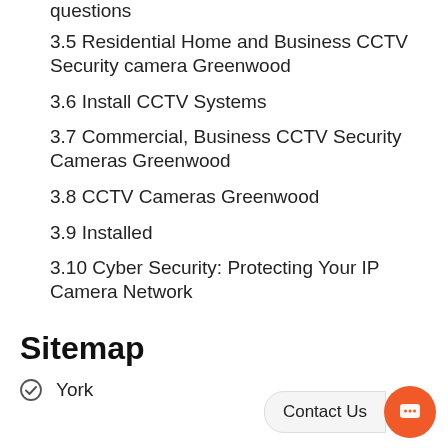questions
3.5 Residential Home and Business CCTV Security camera Greenwood
3.6 Install CCTV Systems
3.7 Commercial, Business CCTV Security Cameras Greenwood
3.8 CCTV Cameras Greenwood
3.9 Installed
3.10 Cyber Security: Protecting Your IP Camera Network
Sitemap
York
Contact Us